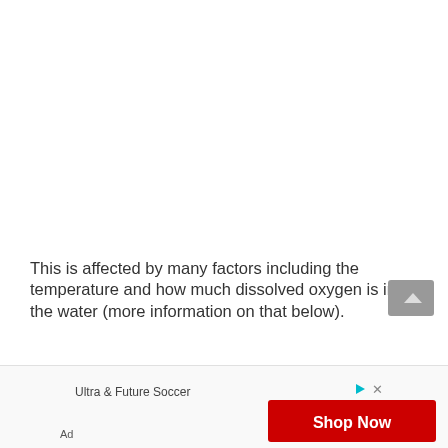This is affected by many factors including the temperature and how much dissolved oxygen is in the water (more information on that below).
[Figure (other): Advertisement banner for Ultra & Future Soccer with a red 'Shop Now' button and ad disclosure label]